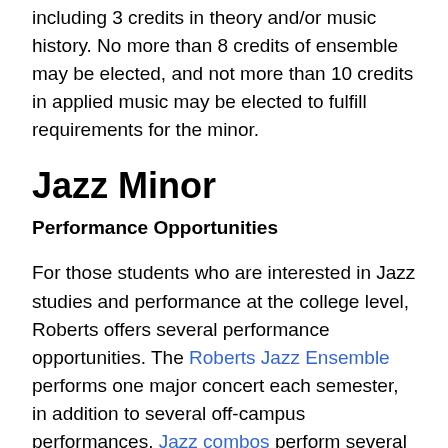including 3 credits in theory and/or music history. No more than 8 credits of ensemble may be elected, and not more than 10 credits in applied music may be elected to fulfill requirements for the minor.
Jazz Minor
Performance Opportunities
For those students who are interested in Jazz studies and performance at the college level, Roberts offers several performance opportunities. The Roberts Jazz Ensemble performs one major concert each semester, in addition to several off-campus performances. Jazz combos perform several times each semester, at music seminars, social events, and the highly popular “Jazz and Dessert” concert held on a Friday and Saturday...